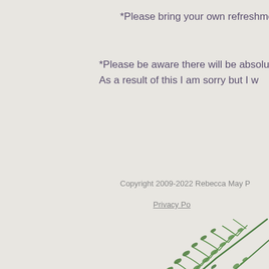*Please bring your own refreshme
*Please be aware there will be absolute
As a result of this I am sorry but I w
Copyright 2009-2022 Rebecca May P
Privacy Po